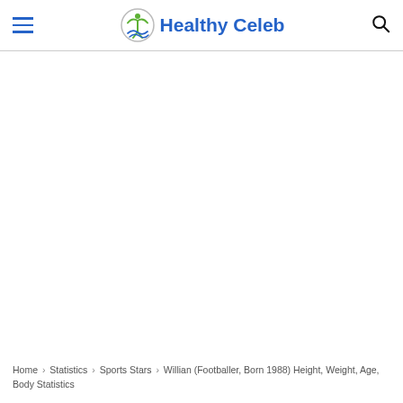Healthy Celeb
Home › Statistics › Sports Stars › Willian (Footballer, Born 1988) Height, Weight, Age, Body Statistics